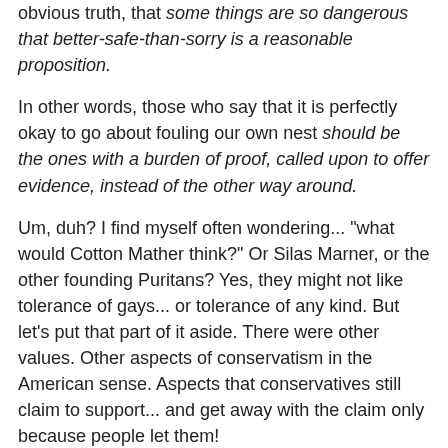obvious truth, that some things are so dangerous that better-safe-than-sorry is a reasonable proposition.
In other words, those who say that it is perfectly okay to go about fouling our own nest should be the ones with a burden of proof, called upon to offer evidence, instead of the other way around.
Um, duh? I find myself often wondering... "what would Cotton Mather think?" Or Silas Marner, or the other founding Puritans? Yes, they might not like tolerance of gays... or tolerance of any kind. But let's put that part of it aside. There were other values. Other aspects of conservatism in the American sense. Aspects that conservatives still claim to support... and get away with the claim only because people let them!
Prudence.
Pay-as-you go refusal to go into debt.
Waste-not, Want-not.
A stitch in time, saves nine.
Mind your own business.